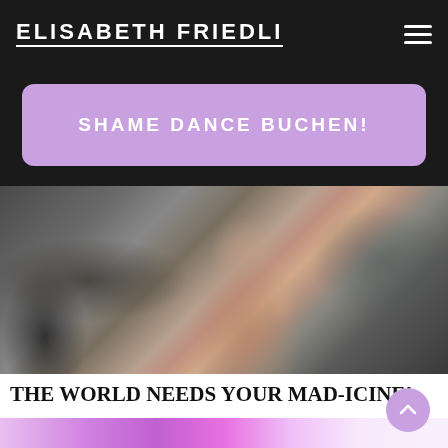ELISABETH FRIEDLI
SHAME DANCE BUCHEN!
[Figure (photo): Close-up photo of a woman with dark hair touching her lips with her finger, in front of tangled electrical wires background]
THE WORLD NEEDS YOUR MAD-ICINE!
[Figure (photo): Partial photo showing a purple/magenta glowing abstract image, likely a person with purple lighting effects]